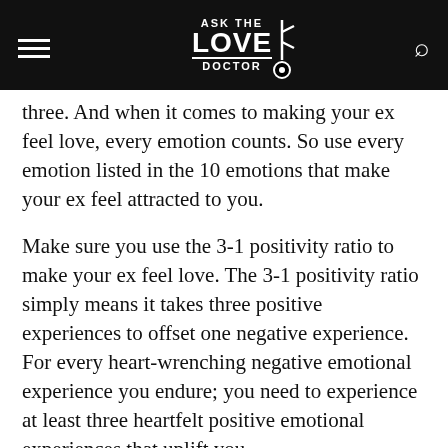ASK THE LOVE DOCTOR
three. And when it comes to making your ex feel love, every emotion counts. So use every emotion listed in the 10 emotions that make your ex feel attracted to you.
Make sure you use the 3-1 positivity ratio to make your ex feel love. The 3-1 positivity ratio simply means it takes three positive experiences to offset one negative experience. For every heart-wrenching negative emotional experience you endure; you need to experience at least three heartfelt positive emotional experiences that uplift you.